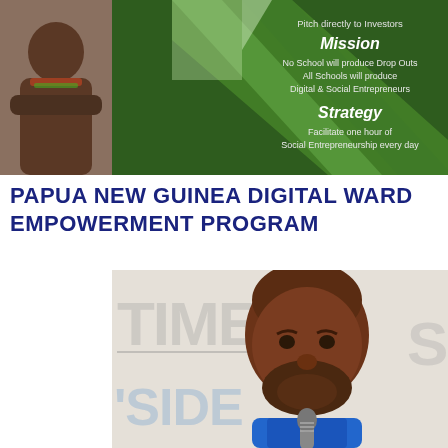[Figure (infographic): Green and dark background promotional banner showing a young man with text about pitching to investors, Mission (No School will produce Drop Outs, All Schools will produce Digital & Social Entrepreneurs), and Strategy (Facilitate one hour of Social Entrepreneurship every day)]
PAPUA NEW GUINEA DIGITAL WARD EMPOWERMENT PROGRAM
[Figure (photo): Photo of an older man speaking at a microphone, with large watermark text TIME and SIDE visible in the background]